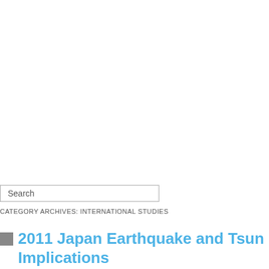Search
CATEGORY ARCHIVES: INTERNATIONAL STUDIES
2011 Japan Earthquake and Tsun... Implications